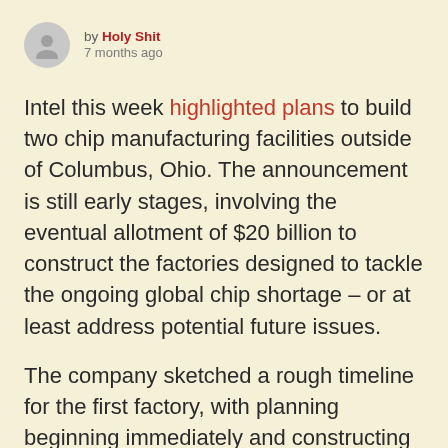by Holy Shit
7 months ago
Intel this week highlighted plans to build two chip manufacturing facilities outside of Columbus, Ohio. The announcement is still early stages, involving the eventual allotment of $20 billion to construct the factories designed to tackle the ongoing global chip shortage – or at least address potential future issues.
The company sketched a rough timeline for the first factory, with planning beginning immediately and constructing following before the end of the year. That facility would come online in 2025, marking its first new manufacturing site in 40 years. The project